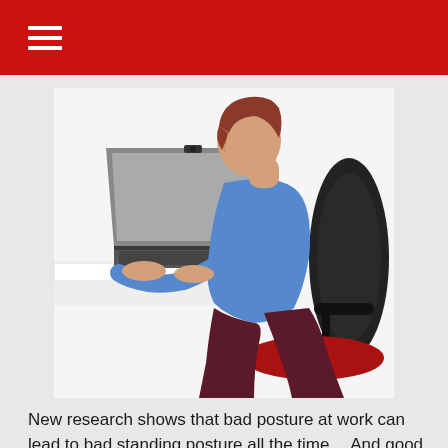[Figure (photo): Woman with short red hair wearing a blue shirt, sitting hunched forward on a black office chair with red seat, typing on a laptop at a white desk. The posture is notably poor, with the back curved and head bent down toward the screen.]
New research shows that bad posture at work can lead to bad standing posture all the time… And good posture isn't just about looking more